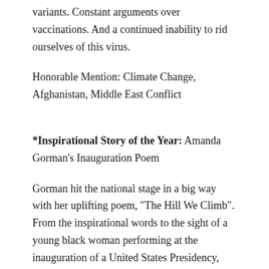variants. Constant arguments over vaccinations. And a continued inability to rid ourselves of this virus.
Honorable Mention: Climate Change, Afghanistan, Middle East Conflict
*Inspirational Story of the Year: Amanda Gorman's Inauguration Poem
Gorman hit the national stage in a big way with her uplifting poem, "The Hill We Climb". From the inspirational words to the sight of a young black woman performing at the inauguration of a United States Presidency, mixed with the feelings of everything we had just experienced on January 6th, Gorman captured us all.